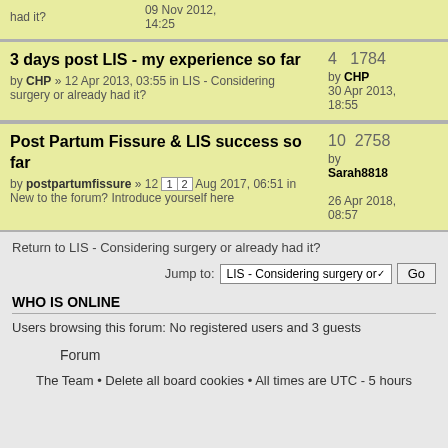| Topic | Stats |
| --- | --- |
| had it? | 09 Nov 2012, 14:25 |
| 3 days post LIS - my experience so far
by CHP » 12 Apr 2013, 03:55 in LIS - Considering surgery or already had it? | 4  1784
by CHP
30 Apr 2013, 18:55 |
| Post Partum Fissure & LIS success so far
by postpartumfissure » 12 Aug 2017, 06:51 in New to the forum? Introduce yourself here | 10  2758
by Sarah8818
26 Apr 2018, 08:57 |
Return to LIS - Considering surgery or already had it?
Jump to: LIS - Considering surgery or ✓  Go
WHO IS ONLINE
Users browsing this forum: No registered users and 3 guests
Forum
The Team • Delete all board cookies • All times are UTC - 5 hours